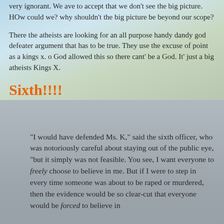very ignorant. We ave to accept that we don't see the big picture. HOw could we? why shouldn't the big picture be beyond our scope?
There the atheists are looking for an all purpose handy dandy god defeater argument that has to be true. They use the excuse of point as a kings x. o God allowed this so there cant' be a God. It' just a big atheists Kings X.
Sixth!!!!
"I would have defended Ms. K," said the sixth officer, who was notoriously careful about staying out of the public eye, "but it simply was not feasible. You see, I want everyone to freely choose to believe in me. But if I were to step in every time someone was about to be raped or murdered, then the evidence would be so clear-cut that everyone would be forced to believe in